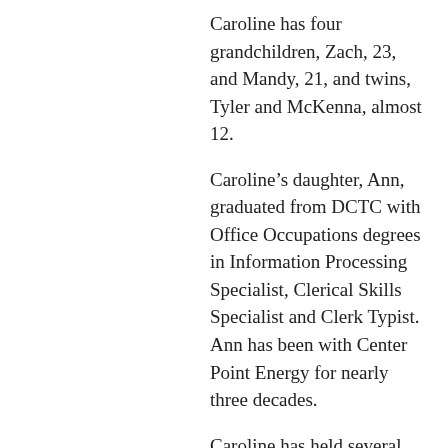Caroline has four grandchildren, Zach, 23, and Mandy, 21, and twins, Tyler and McKenna, almost 12.
Caroline's daughter, Ann, graduated from DCTC with Office Occupations degrees in Information Processing Specialist, Clerical Skills Specialist and Clerk Typist. Ann has been with Center Point Energy for nearly three decades.
Caroline has held several part-time positions since her retirement, including a lot of substitute work at DCTC.
“I was a daycare provider for my twin grandchildren for ten years,” she said. “I enjoy tutoring at Rosemount